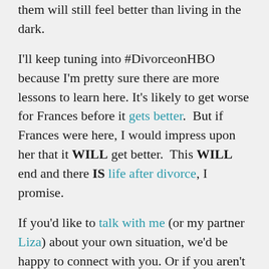them will still feel better than living in the dark.
I'll keep tuning into #DivorceonHBO because I'm pretty sure there are more lessons to learn here. It's likely to get worse for Frances before it gets better.  But if Frances were here, I would impress upon her that it WILL get better.  This WILL end and there IS life after divorce, I promise.
If you'd like to talk with me (or my partner Liza) about your own situation, we'd be happy to connect with you. Or if you aren't ready, that's ok too. We invite you to keep reading.